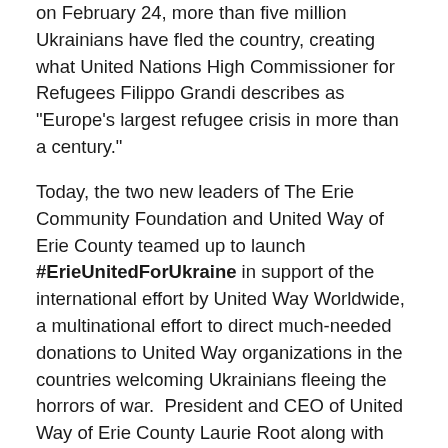on February 24, more than five million Ukrainians have fled the country, creating what United Nations High Commissioner for Refugees Filippo Grandi describes as "Europe's largest refugee crisis in more than a century."
Today, the two new leaders of The Erie Community Foundation and United Way of Erie County teamed up to launch #ErieUnitedForUkraine in support of the international effort by United Way Worldwide, a multinational effort to direct much-needed donations to United Way organizations in the countries welcoming Ukrainians fleeing the horrors of war.  President and CEO of United Way of Erie County Laurie Root along with President and CEO of the Foundation Karen Bilowith announced the Erie United for Ukraine campaign at a press conference held March 30.
“Because of the massive numbers and the complexity of providing humanitarian aid around a war zone, the efforts are stronger when partnering together,” said Root. “Collective philanthropy is powerful,” said Bilowith.  “Our